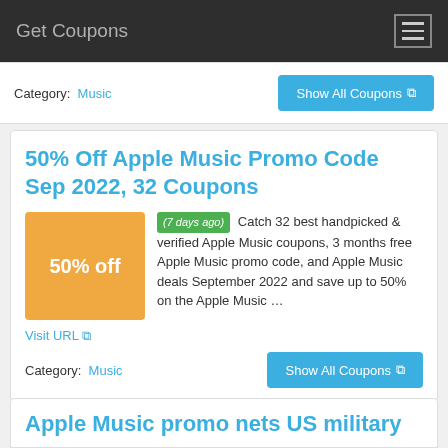Get Coupons
Category: Music
Show All Coupons
50% Off Apple Music Promo Code Sep 2022, 32 Coupons
(7 days ago) Catch 32 best handpicked & verified Apple Music coupons, 3 months free Apple Music promo code, and Apple Music deals September 2022 and save up to 50% on the Apple Music …
Visit URL
Category: Music
Show All Coupons
Apple Music promo nets US military